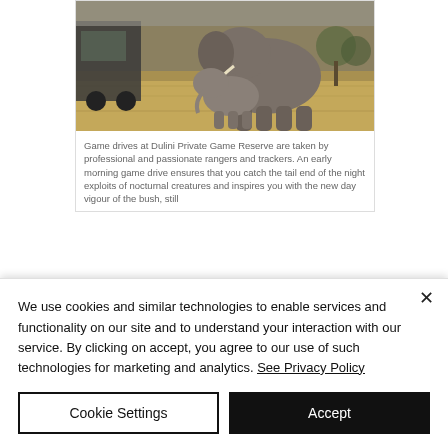[Figure (photo): Photo of elephants (adult and baby) in dry savanna grassland with a safari vehicle partially visible on the left]
Game drives at Dulini Private Game Reserve are taken by professional and passionate rangers and trackers. An early morning game drive ensures that you catch the tail end of the night exploits of nocturnal creatures and inspires you with the new day vigour of the bush, still
We use cookies and similar technologies to enable services and functionality on our site and to understand your interaction with our service. By clicking on accept, you agree to our use of such technologies for marketing and analytics. See Privacy Policy
Cookie Settings
Accept